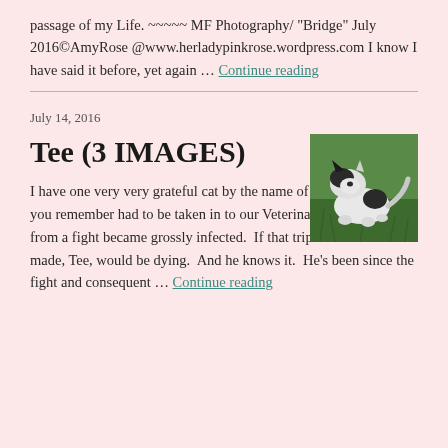passage of my Life. ~~~~~ MF Photography/ “Bridge” July 2016©AmyRose @www.herladypinkrose.wordpress.com I know I have said it before, yet again … Continue reading
July 14, 2016
Tee (3 IMAGES)
[Figure (photo): A black and white cat lying on green grass, viewed from above]
I have one very very grateful cat by the name of Tee who most of you remember had to be taken in to our Veterinarian after wounds from a fight became grossly infected. If that trip had not been made, Tee, would be dying. And he knows it. He’s been since the fight and consequent … Continue reading